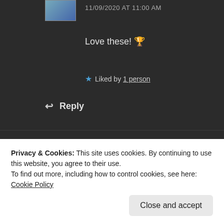11/09/2020 AT 11:00 AM
Love these! 🏆
★ Liked by 1 person
↩ Reply
Aspasía S. Bissas
Privacy & Cookies: This site uses cookies. By continuing to use this website, you agree to their use.
To find out more, including how to control cookies, see here: Cookie Policy
Close and accept